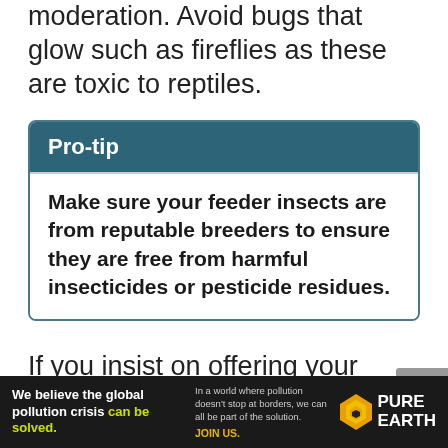moderation. Avoid bugs that glow such as fireflies as these are toxic to reptiles.
Pro-tip
Make sure your feeder insects are from reputable breeders to ensure they are free from harmful insecticides or pesticide residues.
If you insist on offering your Leopard gecko fruit and vegetables then the best way to do it is via gut-loading. Feeder
[Figure (infographic): Advertisement banner: 'We believe the global pollution crisis can be solved. In a world where pollution doesn't stop at borders, we can all be part of the solution. JOIN US.' with Pure Earth logo.]